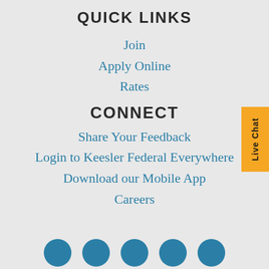QUICK LINKS
Join
Apply Online
Rates
CONNECT
Share Your Feedback
Login to Keesler Federal Everywhere
Download our Mobile App
Careers
[Figure (other): Live Chat tab button on the right side of the page, orange background with vertical text]
[Figure (other): Row of social media icon circles (teal/blue) at the bottom of the page]